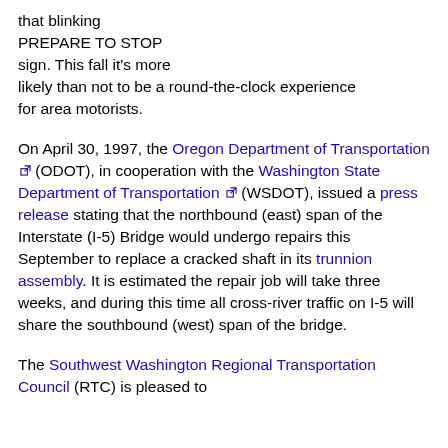that blinking PREPARE TO STOP sign. This fall it's more likely than not to be a round-the-clock experience for area motorists.
On April 30, 1997, the Oregon Department of Transportation (ODOT), in cooperation with the Washington State Department of Transportation (WSDOT), issued a press release stating that the northbound (east) span of the Interstate (I-5) Bridge would undergo repairs this September to replace a cracked shaft in its trunnion assembly. It is estimated the repair job will take three weeks, and during this time all cross-river traffic on I-5 will share the southbound (west) span of the bridge.
The Southwest Washington Regional Transportation Council (RTC) is pleased to